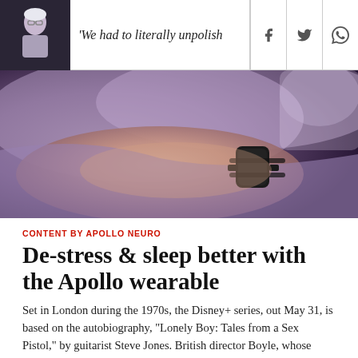'We had to literally unpolish
[Figure (photo): Close-up photo of a person lying down wearing a wearable device (Apollo Neuro) on their wrist/arm, with soft purple-toned lighting]
CONTENT BY APOLLO NEURO
De-stress & sleep better with the Apollo wearable
Set in London during the 1970s, the Disney+ series, out May 31, is based on the autobiography, "Lonely Boy: Tales from a Sex Pistol," by guitarist Steve Jones. British director Boyle, whose filmography includes "Trainspotting" (1996),